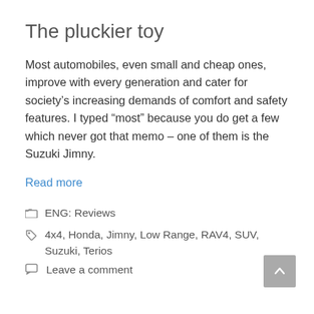The pluckier toy
Most automobiles, even small and cheap ones, improve with every generation and cater for society’s increasing demands of comfort and safety features. I typed “most” because you do get a few which never got that memo – one of them is the Suzuki Jimny.
Read more
ENG: Reviews
4x4, Honda, Jimny, Low Range, RAV4, SUV, Suzuki, Terios
Leave a comment